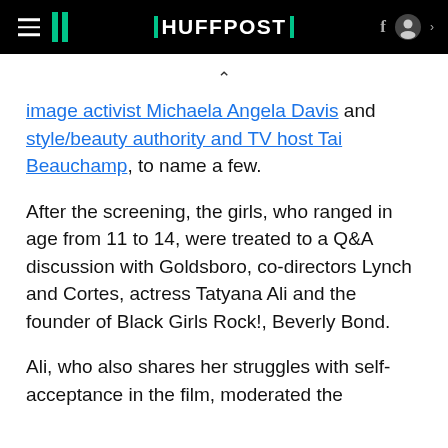HUFFPOST
image activist Michaela Angela Davis and style/beauty authority and TV host Tai Beauchamp, to name a few.
After the screening, the girls, who ranged in age from 11 to 14, were treated to a Q&A discussion with Goldsboro, co-directors Lynch and Cortes, actress Tatyana Ali and the founder of Black Girls Rock!, Beverly Bond.
Ali, who also shares her struggles with self-acceptance in the film, moderated the